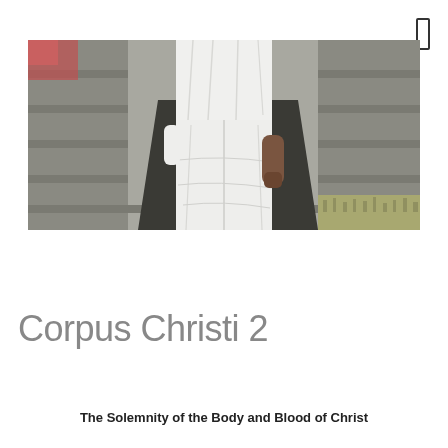[Figure (photo): A person wearing white clothing (white shirt and white loose pants) standing in front of grey wooden bleachers or steps, with grass visible at lower right. Only the torso and legs are visible; one hand hangs at side.]
Corpus Christi 2
The Solemnity of the Body and Blood of Christ